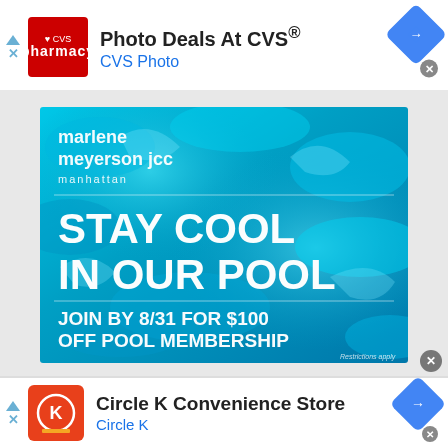Photo Deals At CVS® — CVS Photo
[Figure (photo): Marlene Meyerson JCC Manhattan pool advertisement. Blue water pool background with text: 'marlene meyerson jcc manhattan', 'STAY COOL IN OUR POOL', 'JOIN BY 8/31 FOR $100 OFF POOL MEMBERSHIP', 'Restrictions apply']
Circle K Convenience Store — Circle K